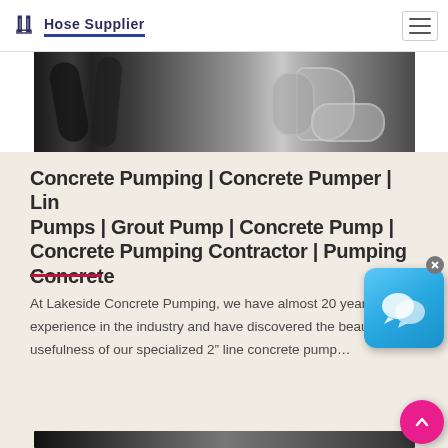Hose Supplier
[Figure (photo): Close-up photo of industrial hose fittings and metal connectors, showing black rubber hoses and shiny chrome/steel elbow fittings and hex nuts]
Concrete Pumping | Concrete Pumper | Line Pumps | Grout Pump | Concrete Pump | Concrete Pumping Contractor | Pumping Concrete
At Lakeside Concrete Pumping, we have almost 20 years of experience in the industry and have discovered the beauty and usefulness of our specialized 2” line concrete pump…
[Figure (photo): Partial view of another article card with a photo of industrial equipment at the bottom of the page]